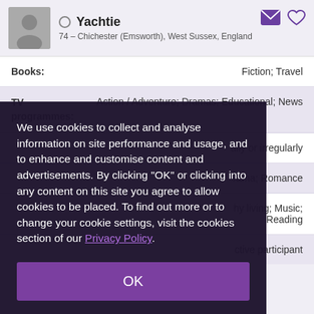Yachtie — 74 – Chichester (Emsworth), West Sussex, England
Books: Fiction; Travel
TV programmes: Action / Adventure; Dramas; Educational; News
...ally or irregularly
...rama; Romance
...hy living; Music; Reading
...ctive participant
We use cookies to collect and analyse information on site performance and usage, and to enhance and customise content and advertisements. By clicking "OK" or clicking into any content on this site you agree to allow cookies to be placed. To find out more or to change your cookie settings, visit the cookies section of our Privacy Policy.